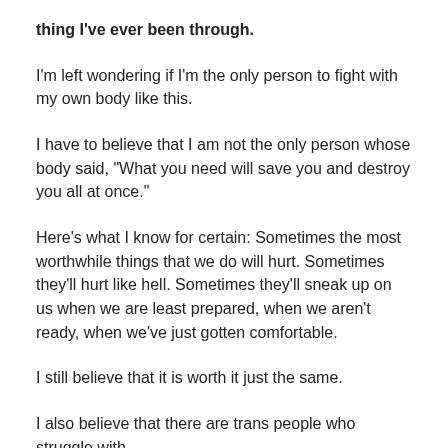thing I've ever been through.
I'm left wondering if I'm the only person to fight with my own body like this.
I have to believe that I am not the only person whose body said, "What you need will save you and destroy you all at once."
Here's what I know for certain: Sometimes the most worthwhile things that we do will hurt. Sometimes they'll hurt like hell. Sometimes they'll sneak up on us when we are least prepared, when we aren't ready, when we've just gotten comfortable.
I still believe that it is worth it just the same.
I also believe that there are trans people who struggle with